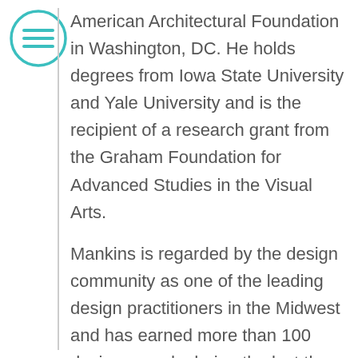[Figure (other): Circular teal menu/hamburger icon with three horizontal lines inside a circle]
American Architectural Foundation in Washington, DC. He holds degrees from Iowa State University and Yale University and is the recipient of a research grant from the Graham Foundation for Advanced Studies in the Visual Arts.

Mankins is regarded by the design community as one of the leading design practitioners in the Midwest and has earned more than 100 design awards during the last three decades. He received the American Institute of Architects Young Architects Award in 2003, and in 2004, he was elected to the